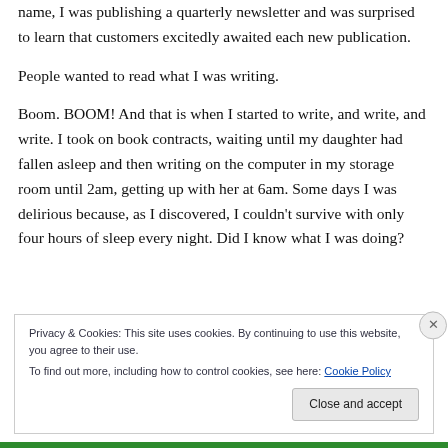name, I was publishing a quarterly newsletter and was surprised to learn that customers excitedly awaited each new publication.
People wanted to read what I was writing.
Boom. BOOM! And that is when I started to write, and write, and write. I took on book contracts, waiting until my daughter had fallen asleep and then writing on the computer in my storage room until 2am, getting up with her at 6am. Some days I was delirious because, as I discovered, I couldn't survive with only four hours of sleep every night. Did I know what I was doing?
Privacy & Cookies: This site uses cookies. By continuing to use this website, you agree to their use. To find out more, including how to control cookies, see here: Cookie Policy
Close and accept